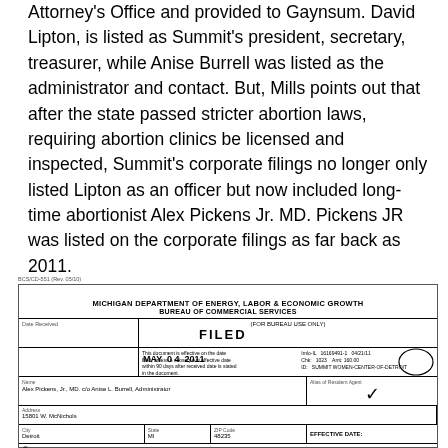Attorney's Office and provided to Gaynsum. David Lipton, is listed as Summit's president, secretary, treasurer, while Anise Burrell was listed as the administrator and contact. But, Mills points out that after the state passed stricter abortion laws, requiring abortion clinics be licensed and inspected, Summit's corporate filings no longer only listed Lipton as an officer but now included long-time abortionist Alex Pickens Jr. MD. Pickens JR was listed on the corporate filings as far back as 2011.
[Figure (other): Scanned Michigan Department of Energy, Labor & Economic Growth, Bureau of Commercial Services form stamped FILED MAY 04 2011. Shows Alex Pickens, Jr., MD c/o Anise L. Burrell, Administrator at 15801 W. McNichols, Detroit, MI 48235.]